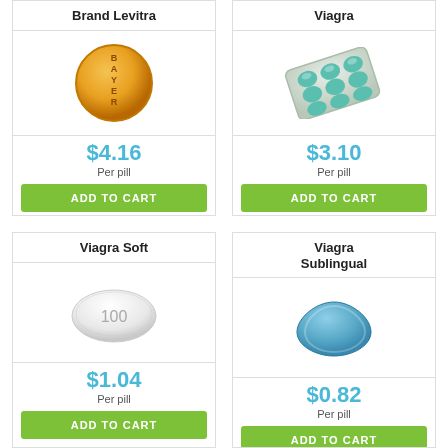Brand Levitra
$4.16 Per pill
ADD TO CART
Viagra
$3.10 Per pill
ADD TO CART
Viagra Soft
$1.04 Per pill
ADD TO CART
Viagra Sublingual
$0.82 Per pill
ADD TO CART